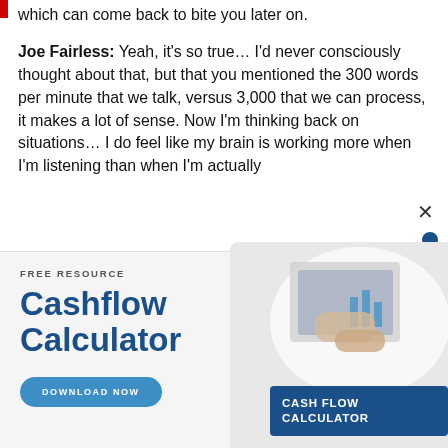which can come back to bite you later on.
Joe Fairless: Yeah, it’s so true… I’d never consciously thought about that, but that you mentioned the 300 words per minute that we talk, versus 3,000 that we can process, it makes a lot of sense. Now I’m thinking back on situations… I do feel like my brain is working more when I’m listening than when I’m actually
[Figure (infographic): Advertisement banner for a free Cashflow Calculator resource. Shows 'FREE RESOURCE' label, large bold 'Cashflow Calculator' heading in dark blue, a 'DOWNLOAD NOW' button, and an image of hands using a tablet with a dark blue card labeled 'CASH FLOW CALCULATOR'. Close (x) button and blue dot in top right.]